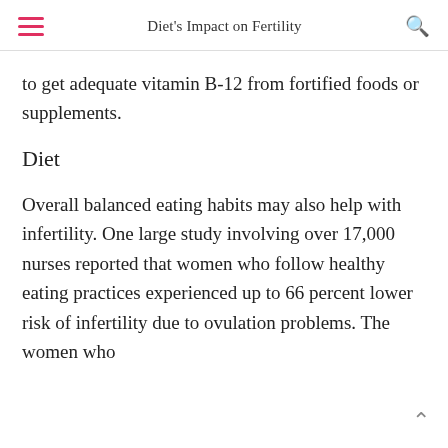Diet's Impact on Fertility
to get adequate vitamin B-12 from fortified foods or supplements.
Diet
Overall balanced eating habits may also help with infertility. One large study involving over 17,000 nurses reported that women who follow healthy eating practices experienced up to 66 percent lower risk of infertility due to ovulation problems. The women who